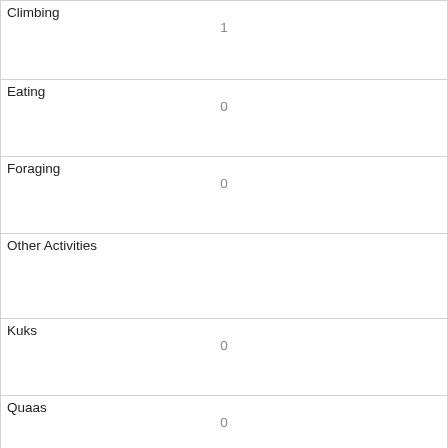| Activity/Behavior | Value |
| --- | --- |
| Climbing | 1 |
| Eating | 0 |
| Foraging | 0 |
| Other Activities |  |
| Kuks | 0 |
| Quaas | 0 |
| Moans | 0 |
| Tail flags | 0 |
| Tail twitches | 0 |
| Approaches | 0 |
| Indifferent |  |